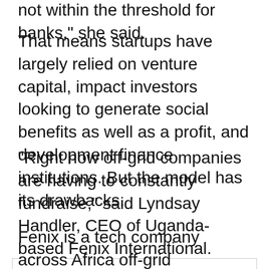not within the threshold for banks," she said.
That means startups have largely relied on venture capital, impact investors looking to generate social benefits as well as a profit, and development finance institutions. But the model has its drawbacks.
“Right now off-grid companies are having to constantly fundraise,” said Lyndsay Handler, CEO of Uganda-based Fenix International.
Privacy & Cookies: This site uses cookies. By continuing to use this website, you agree to their use.
To find out more, including how to control cookies, see here: Cookie Policy
Close and accept
Fenix is a tech company across Africa off-grid